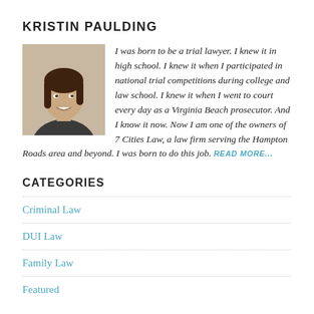KRISTIN PAULDING
[Figure (photo): Headshot photo of Kristin Paulding, a woman with dark hair, smiling, wearing a dark jacket]
I was born to be a trial lawyer. I knew it in high school. I knew it when I participated in national trial competitions during college and law school. I knew it when I went to court every day as a Virginia Beach prosecutor. And I know it now. Now I am one of the owners of 7 Cities Law, a law firm serving the Hampton Roads area and beyond. I was born to do this job. READ MORE...
CATEGORIES
Criminal Law
DUI Law
Family Law
Featured